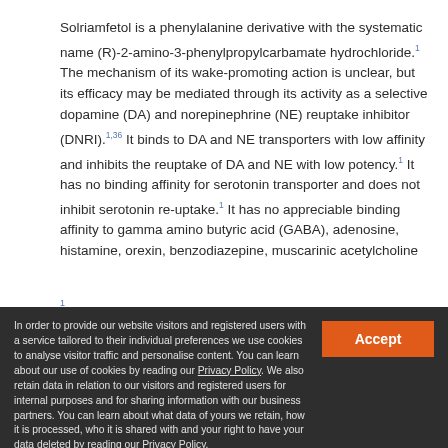Solriamfetol is a phenylalanine derivative with the systematic name (R)-2-amino-3-phenylpropylcarbamate hydrochloride.[1] The mechanism of its wake-promoting action is unclear, but its efficacy may be mediated through its activity as a selective dopamine (DA) and norepinephrine (NE) reuptake inhibitor (DNRI).[1,36] It binds to DA and NE transporters with low affinity and inhibits the reuptake of DA and NE with low potency.[1] It has no binding affinity for serotonin transporter and does not inhibit serotonin re-uptake.[1] It has no appreciable binding affinity to gamma amino butyric acid (GABA), adenosine, histamine, orexin, benzodiazepine, muscarinic acetylcholine [1]
In order to provide our website visitors and registered users with a service tailored to their individual preferences we use cookies to analyse visitor traffic and personalise content. You can learn about our use of cookies by reading our Privacy Policy. We also retain data in relation to our visitors and registered users for internal purposes and for sharing information with our business partners. You can learn about what data of yours we retain, how it is processed, who it is shared with and your right to have your data deleted by reading our Privacy Policy. If you agree to our use of cookies and the contents of our Privacy Policy please click 'accept'.